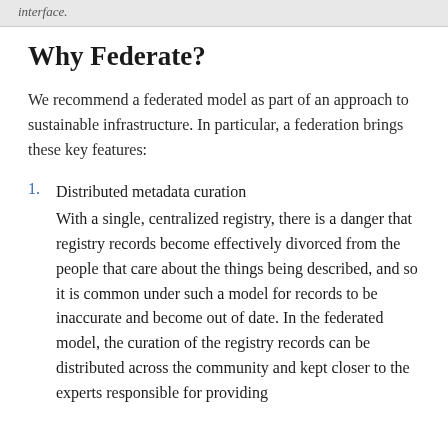interface.
Why Federate?
We recommend a federated model as part of an approach to sustainable infrastructure. In particular, a federation brings these key features:
1. Distributed metadata curation
With a single, centralized registry, there is a danger that registry records become effectively divorced from the people that care about the things being described, and so it is common under such a model for records to be inaccurate and become out of date. In the federated model, the curation of the registry records can be distributed across the community and kept closer to the experts responsible for providing